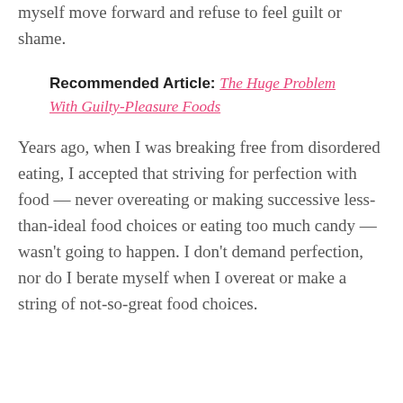myself move forward and refuse to feel guilt or shame.
Recommended Article: The Huge Problem With Guilty-Pleasure Foods
Years ago, when I was breaking free from disordered eating, I accepted that striving for perfection with food — never overeating or making successive less-than-ideal food choices or eating too much candy — wasn't going to happen. I don't demand perfection, nor do I berate myself when I overeat or make a string of not-so-great food choices.